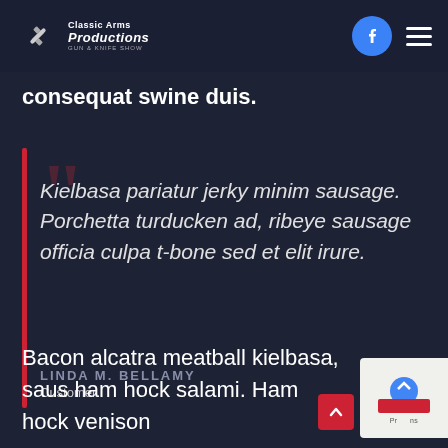Classic Arms Productions
consequat swine duis.
Kielbasa pariatur jerky minim sausage. Porchetta turducken ad, ribeye sausage officia culpa t-bone sed et elit irure.
LINDA M. BELLAMY
Customer
Bacon alcatra meatball kielbasa, saus ham hock salami. Ham hock venison